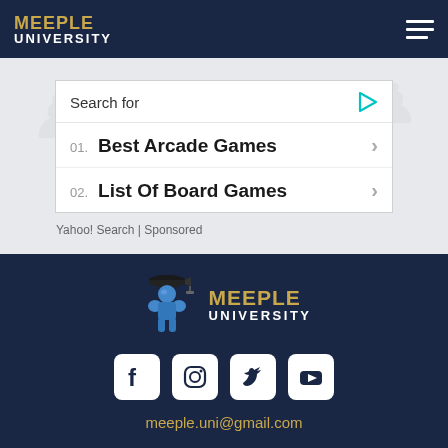MEEPLE UNIVERSITY
Search for
01. Best Arcade Games
02. List Of Board Games
Yahoo! Search | Sponsored
[Figure (logo): Meeple University logo with blue meeple figure wearing graduation cap and gold/white text]
[Figure (infographic): Social media icons: Facebook, Instagram, Twitter, YouTube]
meeple.uni@gmail.com